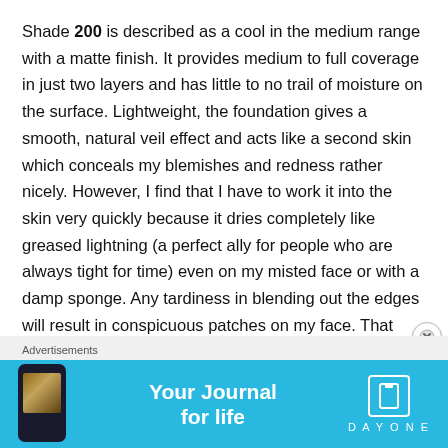Shade 200 is described as a cool in the medium range with a matte finish. It provides medium to full coverage in just two layers and has little to no trail of moisture on the surface. Lightweight, the foundation gives a smooth, natural veil effect and acts like a second skin which conceals my blemishes and redness rather nicely. However, I find that I have to work it into the skin very quickly because it dries completely like greased lightning (a perfect ally for people who are always tight for time) even on my misted face or with a damp sponge. Any tardiness in blending out the edges will result in conspicuous patches on my face. That said, it adheres well to the skin and isn't prone to transfer so I did not have
Advertisements
[Figure (infographic): Advertisement banner for Day One - Your Journal for life app, with blue background, phone image on the left, text in center, and Day One logo on the right]